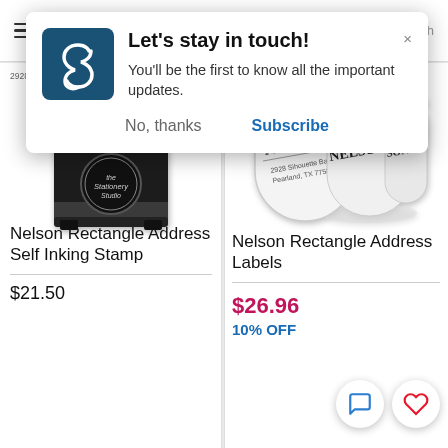[Figure (screenshot): Mobile website screenshot showing a popup notification and product listing page for a stationery/stamp store]
Let's stay in touch!
You'll be the first to know all the important updates.
No, thanks
Subscribe
2928 Sihouette Bay Drive · Pearland, TX 77584
Nelson Rectangle Address Self Inking Stamp
$21.50
Nelson Rectangle Address Labels
$26.96
10% OFF